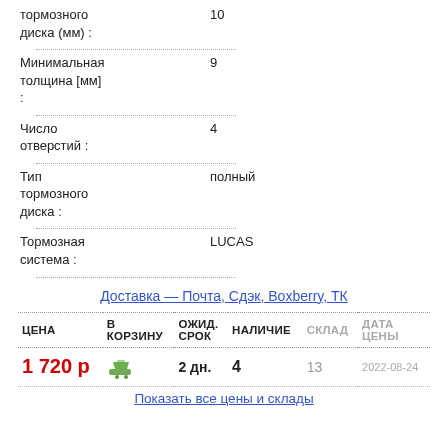| тормозного диска (мм) : | 10 |
| Минимальная толщина [мм] : | 9 |
| Число отверстий : | 4 |
| Тип тормозного диска : | полный |
| Тормозная система : | LUCAS |
Доставка — Почта, Сдэк, Boxberry, ТК
| ЦЕНА | В КОРЗИНУ | ОЖИД. СРОК | НАЛИЧИЕ | СКЛАД | ДАТА ЦЕНЫ |
| --- | --- | --- | --- | --- | --- |
| 1 720 р | [cart icon] | 2 дн. | 4 | 13 | 2022-08-24 |
Показать все цены и склады